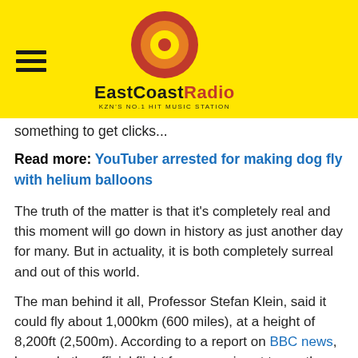EastCoastRadio — KZN'S NO.1 HIT MUSIC STATION
something to get clicks...
Read more: YouTuber arrested for making dog fly with helium balloons
The truth of the matter is that it's completely real and this moment will go down in history as just another day for many. But in actuality, it is both completely surreal and out of this world.
The man behind it all, Professor Stefan Klein, said it could fly about 1,000km (600 miles), at a height of 8,200ft (2,500m). According to a report on BBC news, he made the official flight from one airport to another for the first time late last month.
The car, aptly called "AirCar", looks like an advanced version of